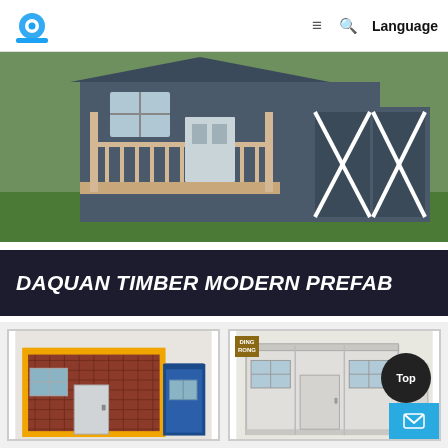Logo | ≡ 🔍 Language
[Figure (photo): Prefab wooden cabin/shed with porch railing, dark grey siding, white trim windows and barn-style doors on the right, set on green grass]
DAQUAN TIMBER MODERN PREFAB
[Figure (photo): Prefab container home with brick-pattern exterior in red and a blue section, featuring windows and a door with yellow metal frame]
[Figure (photo): White prefab container office/home unit with windows and door, DING RONG logo badge in top-left corner]